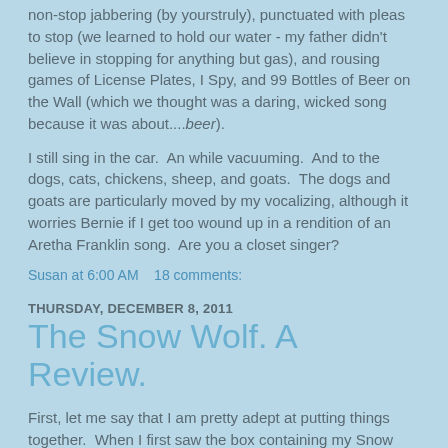non-stop jabbering (by yourstruly), punctuated with pleas to stop (we learned to hold our water - my father didn't believe in stopping for anything but gas), and rousing games of License Plates, I Spy, and 99 Bottles of Beer on the Wall (which we thought was a daring, wicked song because it was about....beer).
I still sing in the car.  An while vacuuming.  And to the dogs, cats, chickens, sheep, and goats.  The dogs and goats are particularly moved by my vocalizing, although it worries Bernie if I get too wound up in a rendition of an Aretha Franklin song.  Are you a closet singer?
Susan at 6:00 AM    18 comments:
THURSDAY, DECEMBER 8, 2011
The Snow Wolf. A Review.
First, let me say that I am pretty adept at putting things together.  When I first saw the box containing my Snow Wolf, I thought, "Gee, this seems like a pretty small box."  That